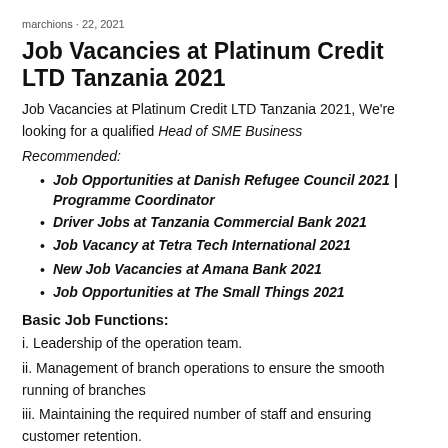marchions · 22, 2021
Job Vacancies at Platinum Credit LTD Tanzania 2021
Job Vacancies at Platinum Credit LTD Tanzania 2021, We're looking for a qualified Head of SME Business
Recommended:
Job Opportunities at Danish Refugee Council 2021 | Programme Coordinator
Driver Jobs at Tanzania Commercial Bank 2021
Job Vacancy at Tetra Tech International 2021
New Job Vacancies at Amana Bank 2021
Job Opportunities at The Small Things 2021
Basic Job Functions:
i. Leadership of the operation team.
ii. Management of branch operations to ensure the smooth running of branches
iii. Maintaining the required number of staff and ensuring customer retention.